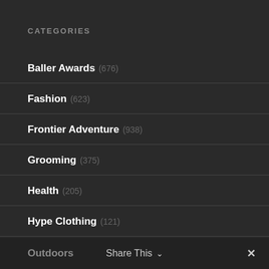CATEGORIES
Baller Awards (676)
Fashion (623)
Frontier Adventure (938)
Grooming (375)
Health (205)
Hype Clothing (121)
Motor (1,553)
Outdoors   Share This ∨   ✕